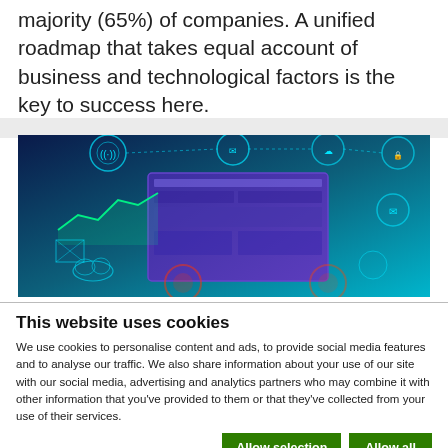majority (65%) of companies. A unified roadmap that takes equal account of business and technological factors is the key to success here.
[Figure (illustration): Digital technology concept illustration showing screens with dashboards, charts, and connected icons on a blue/teal glowing background.]
This website uses cookies
We use cookies to personalise content and ads, to provide social media features and to analyse our traffic. We also share information about your use of our site with our social media, advertising and analytics partners who may combine it with other information that you've provided to them or that they've collected from your use of their services.
Allow selection | Allow all
Necessary  Preferences  Statistics  Marketing  Show details